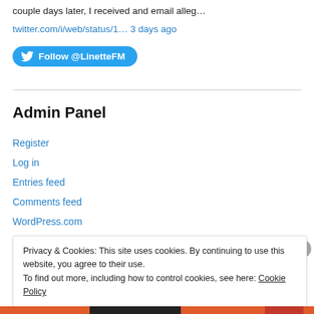couple days later, I received and email alleg…
twitter.com/i/web/status/1… 3 days ago
[Figure (other): Twitter Follow button for @LinetteFM]
Admin Panel
Register
Log in
Entries feed
Comments feed
WordPress.com
Privacy & Cookies: This site uses cookies. By continuing to use this website, you agree to their use.
To find out more, including how to control cookies, see here: Cookie Policy
Close and accept